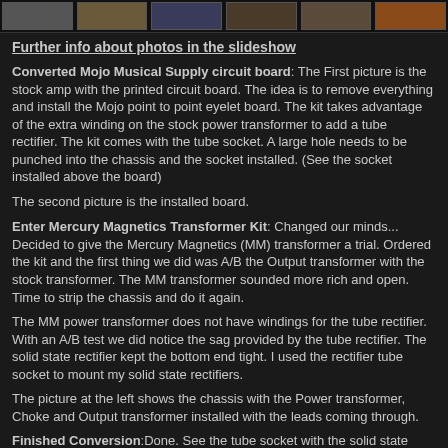[Figure (photo): Strip of thumbnail photos showing various stages of amp conversion]
Further info about photos in the slideshow
Converted Mojo Musical Supply circuit board: The First picture is the stock amp with the printed circuit board. The idea is to remove everything and install the Mojo point to point eyelet board. The kit takes advantage of the extra winding on the stock power transformer to add a tube rectifier. The kit comes with the tube socket. A large hole needs to be punched into the chassis and the socket installed. (See the socket installed above the board)
The second picture is the installed board.
Enter Mercury Magnetics Transformer Kit: Changed our minds... Decided to give the Mercury Magnetics (MM) transformer a trial. Ordered the kit and the first thing we did was A/B the Output transformer with the stock transformer. The MM transformer sounded more rich and open. Time to strip the chassis and do it again.
The MM power transformer does not have windings for the tube rectifier. With an A/B test we did notice the sag provided by the tube rectifier. The solid state rectifier kept the bottom end tight. I used the rectifier tube socket to mount my solid state rectifiers.
The picture at the left shows the chassis with the Power transformer, Choke and Output transformer installed with the leads coming through.
Finished Conversion:Done. See the tube socket with the solid state rectifier installed?
Side notes: The MM kit has a few electronic mods to help the tone. They are all good ideas and were installed. Look closely at the board and you